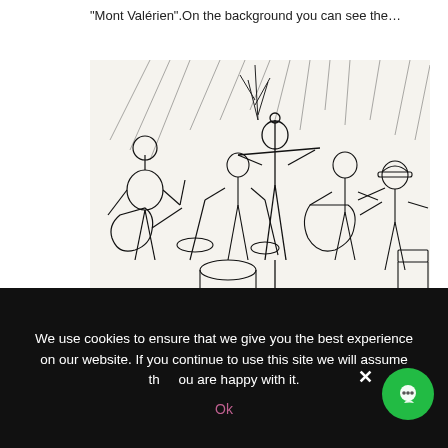“Mont Valérien”.On the background you can see the…
[Figure (illustration): A pencil/ink sketch illustration of a live music band performing on stage, featuring multiple musicians including a guitarist on the left, a drummer in the center-left, a flutist/vocalist at center microphone, a violinist/bassist, and another guitarist on the right. The artwork has loose, energetic lines typical of live sketching. A handwritten signature and date (19.12.18, 14h00) appears at the bottom left.]
We use cookies to ensure that we give you the best experience on our website. If you continue to use this site we will assume that you are happy with it.
Ok